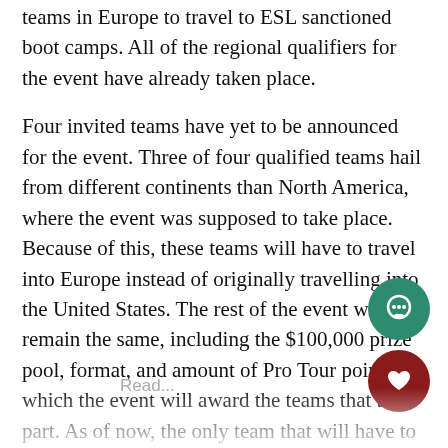teams in Europe to travel to ESL sanctioned boot camps. All of the regional qualifiers for the event have already taken place.
Four invited teams have yet to be announced for the event. Three of four qualified teams hail from different continents than North America, where the event was supposed to take place. Because of this, these teams will have to travel into Europe instead of originally travelling into the United States. The rest of the event will remain the same, including the $100,000 prize pool, format, and amount of Pro Tour points of which the event will award the teams that take part. As of now, the only team that will have to travel to Europe is ORDER, who come from Australia.
Four more teams remain to be invited to the event, which is supposed to take place in February. This is not the only event to take place within America, with IEM this.